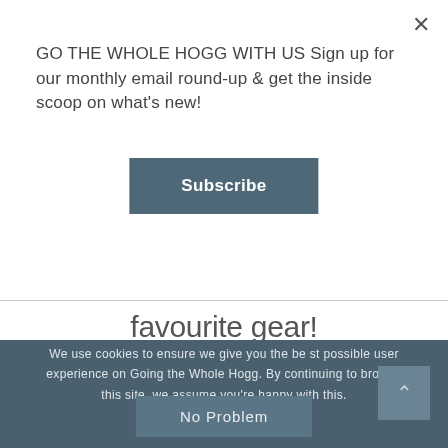GO THE WHOLE HOGG WITH US Sign up for our monthly email round-up & get the inside scoop on what's new!
Subscribe
favourite gear!
We use cookies to ensure we give you the best possible user experience on Going the Whole Hogg. By continuing to browse this site, we assume you're happy with this.
No Problem